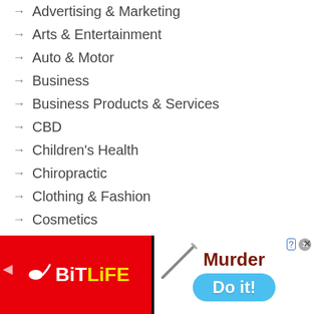Advertising & Marketing
Arts & Entertainment
Auto & Motor
Business
Business Products & Services
CBD
Children's Health
Chiropractic
Clothing & Fashion
Cosmetics
Dental Health
Employment
Financial
Food and Drink
Foods & Culinary
Foot Care
[Figure (screenshot): Advertisement banner for BitLife game showing red background with white sperm logo and yellow 'BitLife' text on left, and a 'Murder / Do it!' call-to-action with knife image on right blue button, with close and help buttons.]